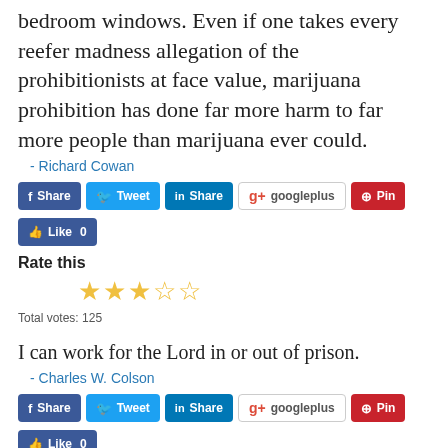bedroom windows. Even if one takes every reefer madness allegation of the prohibitionists at face value, marijuana prohibition has done far more harm to far more people than marijuana ever could.
- Richard Cowan
[Figure (infographic): Social share buttons: Facebook Share, Twitter Tweet, LinkedIn Share, Google+ googleplus, Pinterest Pin, Facebook Like 0]
Rate this
[Figure (infographic): Star rating: 3 filled stars out of 5]
Total votes: 125
I can work for the Lord in or out of prison.
- Charles W. Colson
[Figure (infographic): Social share buttons: Facebook Share, Twitter Tweet, LinkedIn Share, Google+ googleplus, Pinterest Pin, Facebook Like 0]